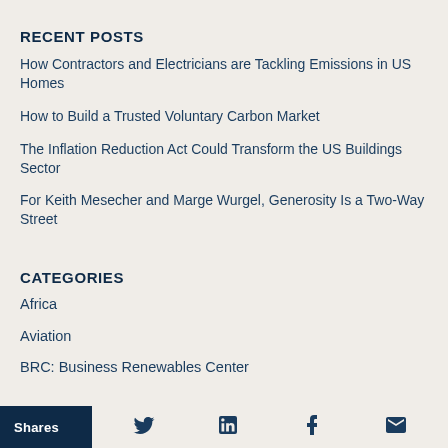RECENT POSTS
How Contractors and Electricians are Tackling Emissions in US Homes
How to Build a Trusted Voluntary Carbon Market
The Inflation Reduction Act Could Transform the US Buildings Sector
For Keith Mesecher and Marge Wurgel, Generosity Is a Two-Way Street
CATEGORIES
Africa
Aviation
BRC: Business Renewables Center
Shares